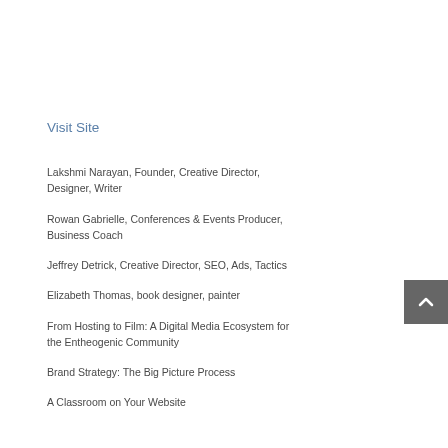Visit Site
Lakshmi Narayan, Founder, Creative Director, Designer, Writer
Rowan Gabrielle, Conferences & Events Producer, Business Coach
Jeffrey Detrick, Creative Director, SEO, Ads, Tactics
Elizabeth Thomas, book designer, painter
From Hosting to Film: A Digital Media Ecosystem for the Entheogenic Community
Brand Strategy: The Big Picture Process
A Classroom on Your Website